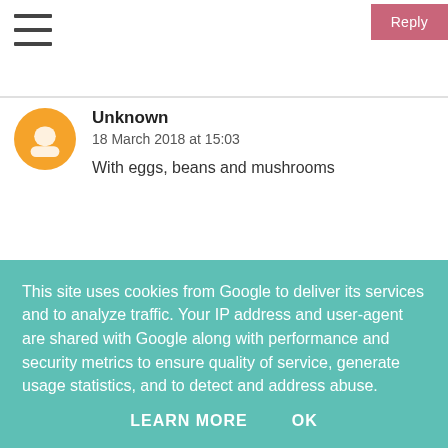≡
Unknown
18 March 2018 at 15:03

With eggs, beans and mushrooms
lisa chappell
18 March 2018 at 15:03

spam fritter
This site uses cookies from Google to deliver its services and to analyze traffic. Your IP address and user-agent are shared with Google along with performance and security metrics to ensure quality of service, generate usage statistics, and to detect and address abuse.

LEARN MORE    OK